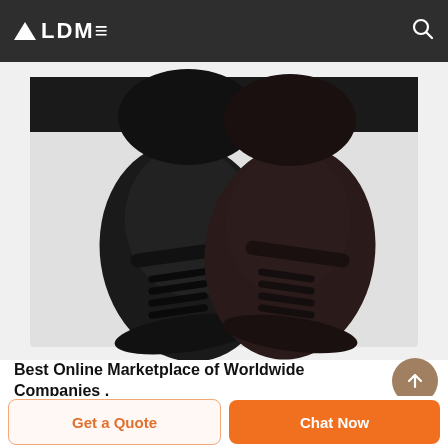ALDME
[Figure (photo): Two black motorcycle knee/shin guards/protectors shot from above on a white background, showing the bottom/sole side with ventilation slots and velcro straps.]
Best Online Marketplace of Worldwide Companies .
eWorldTrade.com | Having millions of products database from
Get a Quote
Chat Now